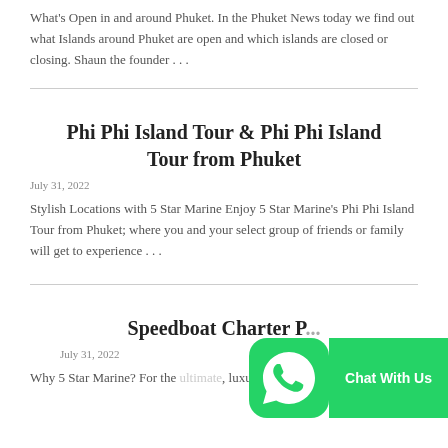What's Open in and around Phuket. In the Phuket News today we find out what Islands around Phuket are open and which islands are closed or closing. Shaun the founder . . .
Phi Phi Island Tour & Phi Phi Island Tour from Phuket
July 31, 2022
Stylish Locations with 5 Star Marine Enjoy 5 Star Marine's Phi Phi Island Tour from Phuket; where you and your select group of friends or family will get to experience . . .
Speedboat Charter P...
July 31, 2022
Why 5 Star Marine? For the ultimate, luxury
[Figure (illustration): WhatsApp chat button overlay: green WhatsApp icon on the left and a green 'Chat With Us' button on the right]